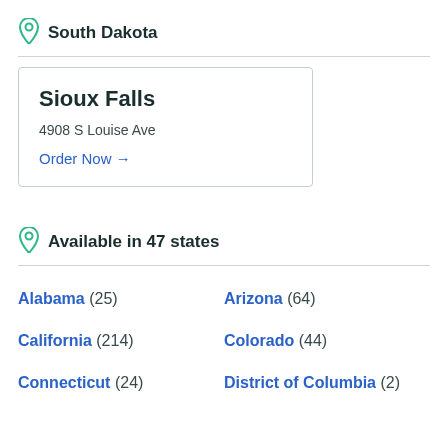South Dakota
Sioux Falls
4908 S Louise Ave
Order Now →
Available in 47 states
Alabama (25)
Arizona (64)
California (214)
Colorado (44)
Connecticut (24)
District of Columbia (2)